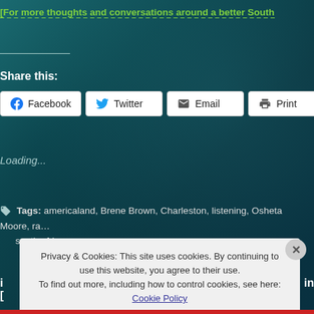[For more thoughts and conversations around a better South
Share this:
[Figure (screenshot): Social share buttons: Facebook, Twitter, Email, Print, Reddit, Pinterest]
Loading...
Tags: americaland, Brene Brown, Charleston, listening, Osheta Moore, ra... south africa
Privacy & Cookies: This site uses cookies. By continuing to use this website, you agree to their use. To find out more, including how to control cookies, see here: Cookie Policy
Close and accept